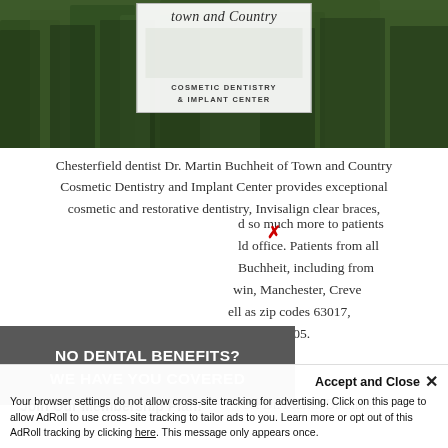[Figure (logo): Town and Country Cosmetic Dentistry & Implant Center logo with script text and forest background hero image]
Chesterfield dentist Dr. Martin Buchheit of Town and Country Cosmetic Dentistry and Implant Center provides exceptional cosmetic and restorative dentistry, Invisalign clear braces, [implants] and so much more to patients [in the Chesterfield] office. Patients from all [over trust Dr.] Buchheit, including from [Ballwin, Chesterfie]lwin, Manchester, Creve [Coeur, as w]ell as zip codes 63017, [63011, and] 63005.
NO DENTAL BENEFITS? WE HAVE YOU COVERED
Join Our Membership Plan!
Meet Dr. Martin Buchheit |
Your browser settings do not allow cross-site tracking for advertising. Click on this page to allow AdRoll to use cross-site tracking to tailor ads to you. Learn more or opt out of this AdRoll tracking by clicking here. This message only appears once.